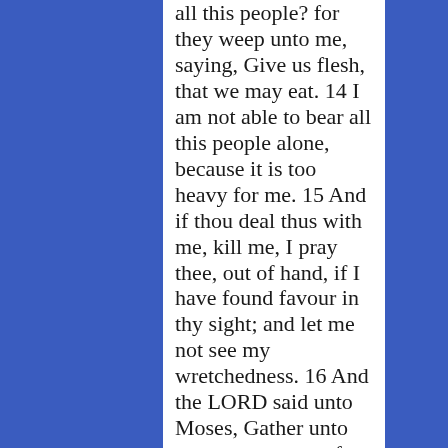all this people? for they weep unto me, saying, Give us flesh, that we may eat. 14 I am not able to bear all this people alone, because it is too heavy for me. 15 And if thou deal thus with me, kill me, I pray thee, out of hand, if I have found favour in thy sight; and let me not see my wretchedness. 16 And the LORD said unto Moses, Gather unto me seventy men of the elders of Israel, whom thou knowest to be the elders of the people, and